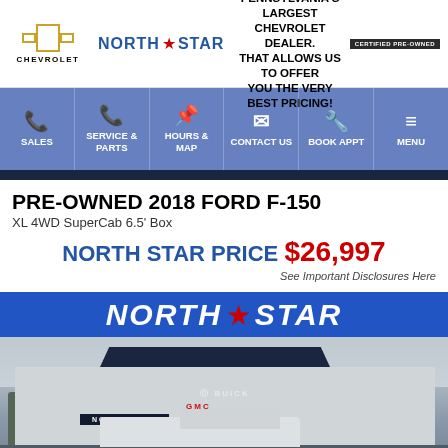Chevrolet North Star – WE ARE PENNSYLVANIA'S LARGEST CHEVROLET DEALER. THAT ALLOWS US TO OFFER YOU THE VERY BEST PRICING!
[Figure (screenshot): Navigation bar with icons for SALES, SERVICE & PARTS, HOURS & MAP, CONTACT US, BOOK APPT, MENU on blue background]
PRE-OWNED 2018 FORD F-150
XL 4WD SuperCab 6.5' Box
NORTH STAR PRICE $26,997
See Important Disclosures Here
[Figure (logo): North Star dealership banner in blue with white italic text and red star]
[Figure (photo): Exterior photo of North Star Buick GMC dealership building with a white truck in the foreground]